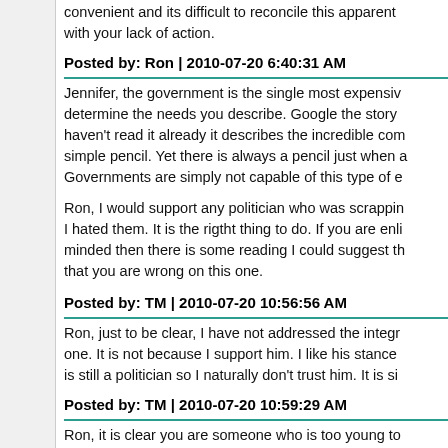convenient and its difficult to reconcile this apparent with your lack of action.
Posted by: Ron | 2010-07-20 6:40:31 AM
Jennifer, the government is the single most expensive determine the needs you describe. Google the story haven't read it already it describes the incredible com simple pencil. Yet there is always a pencil just when a Governments are simply not capable of this type of e
Ron, I would support any politician who was scrappin I hated them. It is the rigtht thing to do. If you are eni minded then there is some reading I could suggest th that you are wrong on this one.
Posted by: TM | 2010-07-20 10:56:56 AM
Ron, just to be clear, I have not addressed the integr one. It is not because I support him. I like his stance is still a politician so I naturally don't trust him. It is si
Posted by: TM | 2010-07-20 10:59:29 AM
Ron, it is clear you are someone who is too young to have socialised health care, but I do. It did not drive m Furthermore doctors actually made house calls and p awaiting medical treatment. Oh, it was also a time pr bilingualism, gun registry, hate laws, HRCs and wher taught and universities were places of higher learning